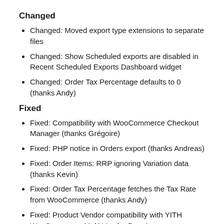Changed
Changed: Moved export type extensions to separate files
Changed: Show Scheduled exports are disabled in Recent Scheduled Exports Dashboard widget
Changed: Order Tax Percentage defaults to 0 (thanks Andy)
Fixed
Fixed: Compatibility with WooCommerce Checkout Manager (thanks Grégoire)
Fixed: PHP notice in Orders export (thanks Andreas)
Fixed: Order Items: RRP ignoring Variation data (thanks Kevin)
Fixed: Order Tax Percentage fetches the Tax Rate from WooCommerce (thanks Andy)
Fixed: Product Vendor compatibility with YITH WooCommerce Multi Vendor Premium
Download the latest Plugin update from My